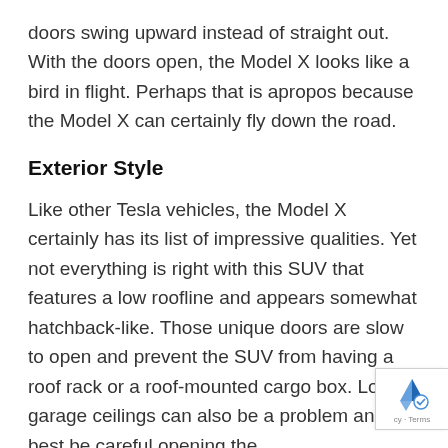doors swing upward instead of straight out. With the doors open, the Model X looks like a bird in flight. Perhaps that is apropos because the Model X can certainly fly down the road.
Exterior Style
Like other Tesla vehicles, the Model X certainly has its list of impressive qualities. Yet not everything is right with this SUV that features a low roofline and appears somewhat hatchback-like. Those unique doors are slow to open and prevent the SUV from having a roof rack or a roof-mounted cargo box. Low garage ceilings can also be a problem and best be careful opening the